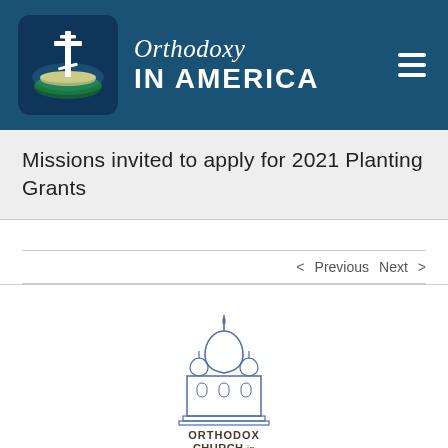[Figure (logo): Orthodoxy in America website header banner with logo showing a cross on a globe and title text 'Orthodoxy IN AMERICA' on dark blue background with hamburger menu icon]
Missions invited to apply for 2021 Planting Grants
< Previous   Next >
[Figure (logo): Orthodox Church in America logo showing a church building with onion domes and text 'ORTHODOX CHURCH in AMERICA']